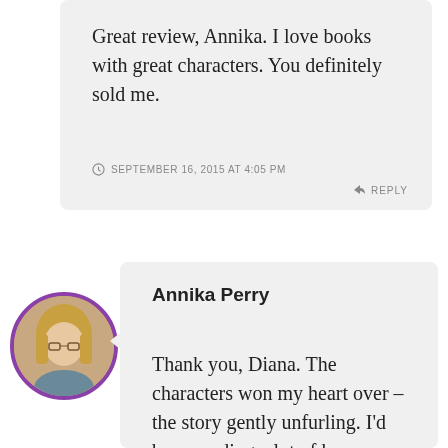Great review, Annika. I love books with great characters. You definitely sold me.
SEPTEMBER 16, 2015 AT 4:05 PM
REPLY
Annika Perry
Thank you, Diana. The characters won my heart over – the story gently unfurling. I'd been reading a lot of heavy